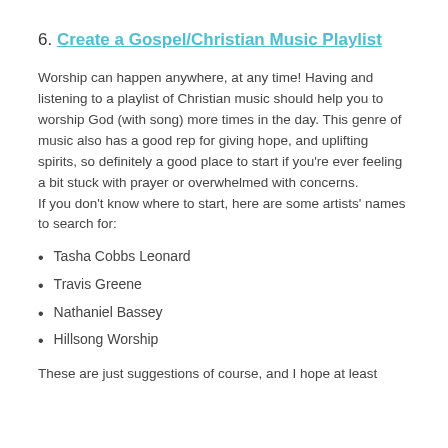6. Create a Gospel/Christian Music Playlist
Worship can happen anywhere, at any time! Having and listening to a playlist of Christian music should help you to worship God (with song) more times in the day. This genre of music also has a good rep for giving hope, and uplifting spirits, so definitely a good place to start if you're ever feeling a bit stuck with prayer or overwhelmed with concerns.
If you don't know where to start, here are some artists' names to search for:
Tasha Cobbs Leonard
Travis Greene
Nathaniel Bassey
Hillsong Worship
These are just suggestions of course, and I hope at least